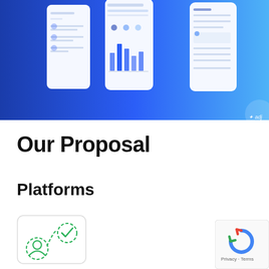[Figure (screenshot): Blue gradient banner showing three smartphone app screenshots side by side, displaying a financial/travel app interface with charts and trip planning features. A partial starburst icon is visible on the right edge.]
Our Proposal
Platforms
[Figure (illustration): Icon illustration showing a user/person icon in a dashed circle connected by a dashed curved path to a checkmark icon in another dashed circle, representing a user journey or workflow on a white card with rounded corners.]
[Figure (logo): Google reCAPTCHA widget showing the reCAPTCHA logo with 'Privacy · Terms' text below, partially visible in the bottom right corner.]